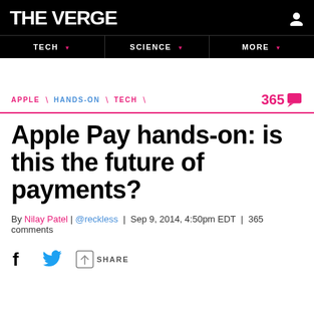THE VERGE
TECH | SCIENCE | MORE
APPLE / HANDS-ON / TECH  365 comments
Apple Pay hands-on: is this the future of payments?
By Nilay Patel | @reckless | Sep 9, 2014, 4:50pm EDT | 365 comments
SHARE